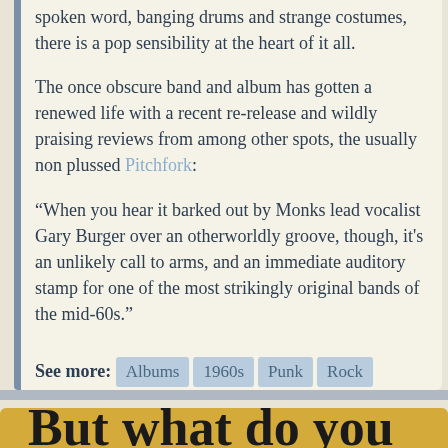spoken word, banging drums and strange costumes, there is a pop sensibility at the heart of it all.
The once obscure band and album has gotten a renewed life with a recent re-release and wildly praising reviews from among other spots, the usually non plussed Pitchfork:
“When you hear it barked out by Monks lead vocalist Gary Burger over an otherworldly groove, though, it’s an unlikely call to arms, and an immediate auditory stamp for one of the most strikingly original bands of the mid-60s.”
See more: Albums 1960s Punk Rock
Posted on August 10, 2009
But what do you...